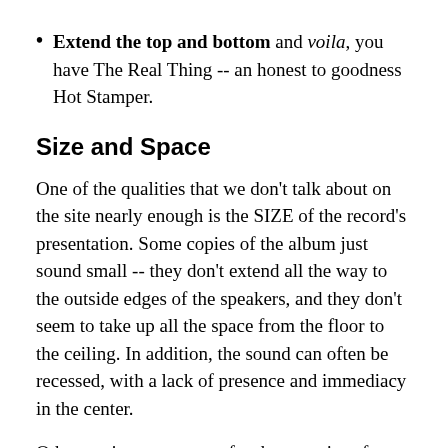Extend the top and bottom and voila, you have The Real Thing -- an honest to goodness Hot Stamper.
Size and Space
One of the qualities that we don't talk about on the site nearly enough is the SIZE of the record's presentation. Some copies of the album just sound small -- they don't extend all the way to the outside edges of the speakers, and they don't seem to take up all the space from the floor to the ceiling. In addition, the sound can often be recessed, with a lack of presence and immediacy in the center.
Other copies -- my notes for these copies often read "BIG and BOLD" -- create a huge soundfield, with the music positively jumping out of the speakers. They're